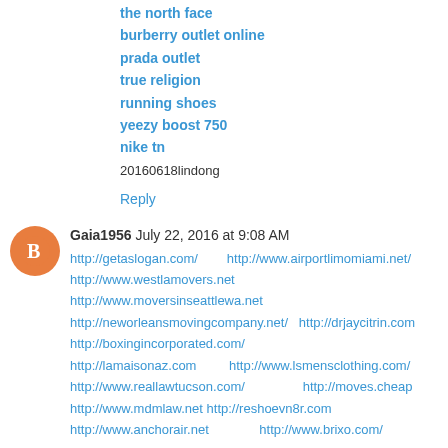the north face
burberry outlet online
prada outlet
true religion
running shoes
yeezy boost 750
nike tn
20160618lindong
Reply
Gaia1956  July 22, 2016 at 9:08 AM
http://getaslogan.com/        http://www.airportlimomiami.net/
http://www.westlamovers.net
http://www.moversinseattlewa.net
http://neworleansmovingcompany.net/   http://drjaycitrin.com
http://boxingincorporated.com/
http://lamaisonaz.com         http://www.lsmensclothing.com/
http://www.reallawtucson.com/                http://moves.cheap
http://www.mdmlaw.net http://reshoevn8r.com
http://www.anchorair.net              http://www.brixo.com/